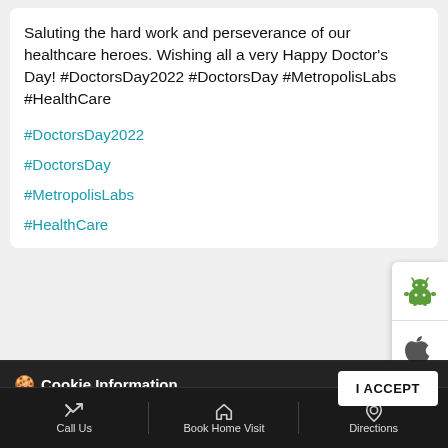Saluting the hard work and perseverance of our healthcare heroes. Wishing all a very Happy Doctor's Day! #DoctorsDay2022 #DoctorsDay #MetropolisLabs #HealthCare
#DoctorsDay2022
#DoctorsDay
#MetropolisLabs
#HealthCare
[Figure (screenshot): Android app download button icon (green Android robot)]
[Figure (screenshot): Apple App Store download button icon (Apple logo)]
Cookie Information
On our website, we use services (including from third-party providers) that help us to improve our online presence (optimization of website) and to display content that is geared to their interests. We need your consent before being able to use these services.
PCOS Society India in collaboration with GynExpert division of Metropolis Healthcare cordially invites you
I ACCEPT
Call Us
Book Home Visit
Directions